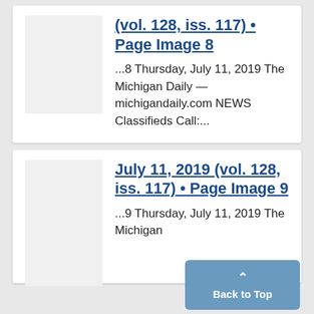(vol. 128, iss. 117) • Page Image 8
...8 Thursday, July 11, 2019 The Michigan Daily — michigandaily.com NEWS Classifieds Call:...
July 11, 2019 (vol. 128, iss. 117) • Page Image 9
...9 Thursday, July 11, 2019 The Michigan